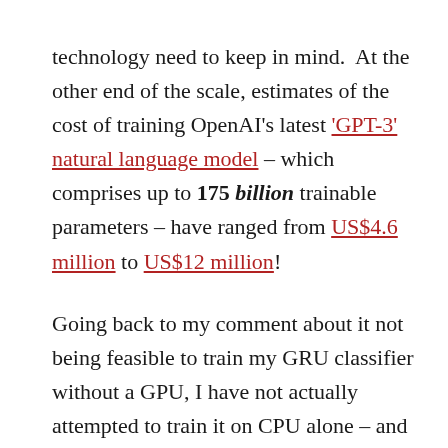technology need to keep in mind.  At the other end of the scale, estimates of the cost of training OpenAI's latest 'GPT-3' natural language model – which comprises up to 175 billion trainable parameters – have ranged from US$4.6 million to US$12 million!
Going back to my comment about it not being feasible to train my GRU classifier without a GPU, I have not actually attempted to train it on CPU alone – and with very good reason.  I ran some small trials (just one tenth of one percent of the full training process) to estimate how long it would take, and calculated 154 hours (around six and a half days) on the workstation , and 285 hours (nearly 12 days) on